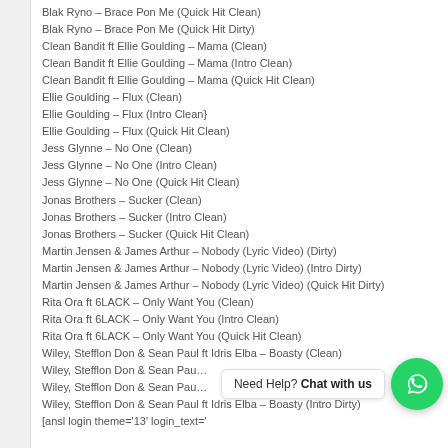Blak Ryno – Brace Pon Me (Quick Hit Clean)
Blak Ryno – Brace Pon Me (Quick Hit Dirty)
Clean Bandit ft Ellie Goulding – Mama (Clean)
Clean Bandit ft Ellie Goulding – Mama (Intro Clean)
Clean Bandit ft Ellie Goulding – Mama (Quick Hit Clean)
Ellie Goulding – Flux (Clean)
Ellie Goulding – Flux (Intro Clean}
Ellie Goulding – Flux (Quick Hit Clean)
Jess Glynne – No One (Clean)
Jess Glynne – No One (Intro Clean)
Jess Glynne – No One (Quick Hit Clean)
Jonas Brothers – Sucker (Clean)
Jonas Brothers – Sucker (Intro Clean)
Jonas Brothers – Sucker (Quick Hit Clean)
Martin Jensen & James Arthur – Nobody (Lyric Video) (Dirty)
Martin Jensen & James Arthur – Nobody (Lyric Video) (Intro Dirty)
Martin Jensen & James Arthur – Nobody (Lyric Video) (Quick Hit Dirty)
Rita Ora ft 6LACK – Only Want You (Clean)
Rita Ora ft 6LACK – Only Want You (Intro Clean)
Rita Ora ft 6LACK – Only Want You (Quick Hit Clean)
Wiley, Stefflon Don & Sean Paul ft Idris Elba – Boasty (Clean)
Wiley, Stefflon Don & Sean Pau…
Wiley, Stefflon Don & Sean Pau…
Wiley, Stefflon Don & Sean Paul ft Idris Elba – Boasty (Intro Dirty)
[ansl login theme='13' login_text='